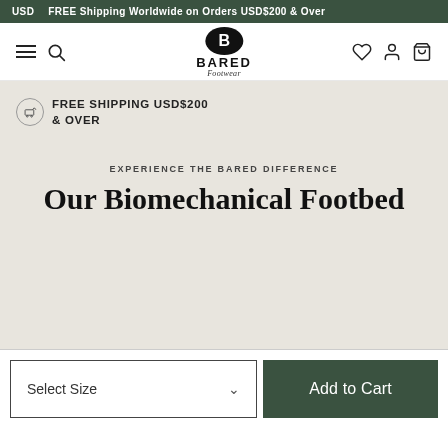USD   FREE Shipping Worldwide on Orders USD$200 & Over
[Figure (logo): Bared Footwear logo with hat icon, brand name BARED and italic 'Footwear' subtitle]
FREE SHIPPING USD$200 & OVER
EXPERIENCE THE BARED DIFFERENCE
Our Biomechanical Footbed
Select Size
Add to Cart